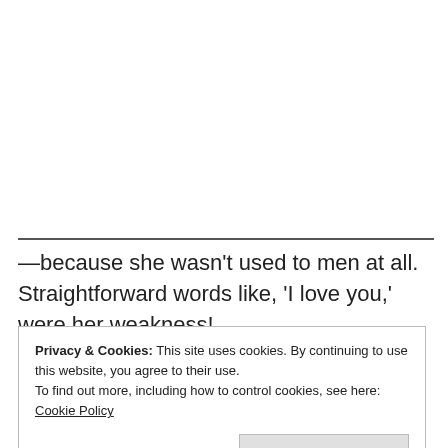—because she wasn't used to men at all. Straightforward words like, 'I love you,' were her weakness!
Privacy & Cookies: This site uses cookies. By continuing to use this website, you agree to their use. To find out more, including how to control cookies, see here: Cookie Policy
Close and accept